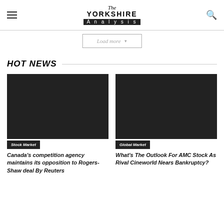The Yorkshire Analysis
Load more
HOT NEWS
[Figure (photo): Dark/black image placeholder for Stock Market article]
Stock Market
Canada's competition agency maintains its opposition to Rogers-Shaw deal By Reuters
[Figure (photo): Dark/black image placeholder for Global Market article]
Global Market
What's The Outlook For AMC Stock As Rival Cineworld Nears Bankruptcy?